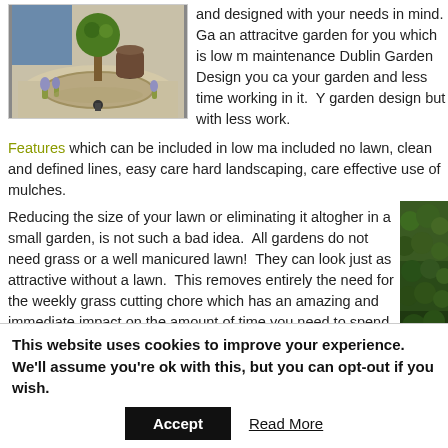[Figure (photo): Garden photo showing a topiary ball tree, gravel landscaping, a dark ceramic pot/urn, and lavender plants in a circular gravel bed]
and designed with your needs in mind.  Ga an attracitve garden for you which is low m maintenance Dublin Garden Design you ca your garden and less time working in it.  Y garden design but with less work.
Features which can be included in low ma included no lawn, clean and defined lines, easy care hard landscaping, care effective use of mulches.
[Figure (photo): Partial photo of green garden/hedging plants on the right side]
Reducing the size of your lawn or eliminating it altogher in a small garden, is not such a bad idea.  All gardens do not need grass or a well manicured lawn!  They can look just as attractive without a lawn.  This removes entirely the need for the weekly grass cutting chore which has an amazing and immediate impact on the amount of time you need to spend in the garden.  Replacing your lawn with hard landscaping need not mean just a large expance of concrete, attractive paving can be broken up into different areas using
This website uses cookies to improve your experience.  We'll assume you're ok with this, but you can opt-out if you wish.
Accept
Read More